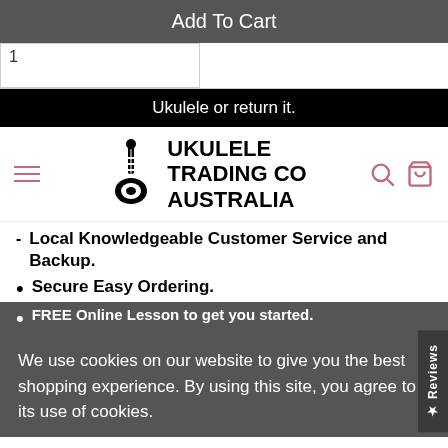Add To Cart
1
Ukulele or return it.
[Figure (logo): Ukulele Trading Co Australia logo with hand holding ukulele neck illustration]
Local Knowledgeable Customer Service and Backup.
Secure Easy Ordering.
FREE Online Lesson to get you started.
We use cookies on our website to give you the best shopping experience. By using this site, you agree to its use of cookies.
SPECS
SIZE:
Baritone
I agree